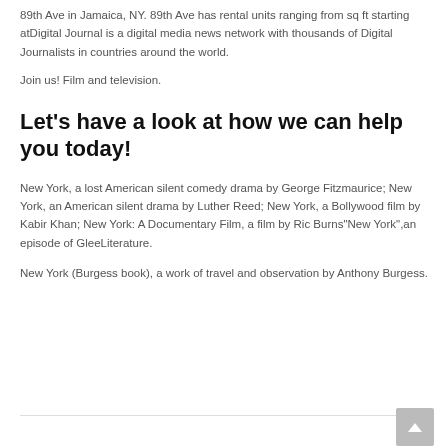89th Ave in Jamaica, NY. 89th Ave has rental units ranging from sq ft starting atDigital Journal is a digital media news network with thousands of Digital Journalists in countries around the world.
Join us! Film and television.
Let's have a look at how we can help you today!
New York, a lost American silent comedy drama by George Fitzmaurice; New York, an American silent drama by Luther Reed; New York, a Bollywood film by Kabir Khan; New York: A Documentary Film, a film by Ric Burns"New York",an episode of GleeLiterature.
New York (Burgess book), a work of travel and observation by Anthony Burgess.